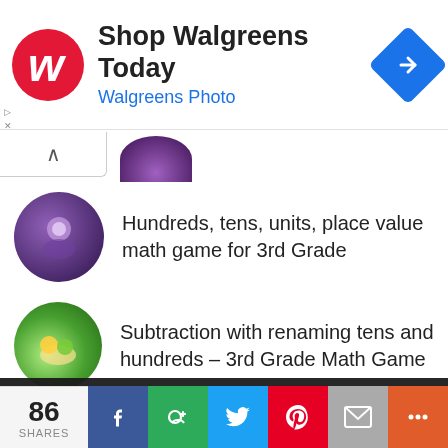[Figure (screenshot): Walgreens advertisement banner with red W logo, 'Shop Walgreens Today' headline, 'Walgreens Photo' subtitle in blue, and a blue navigation arrow icon]
Hundreds, tens, units, place value math game for 3rd Grade
Subtraction with renaming tens and hundreds – 3rd Grade Math Game
Division without remainders – math games for 3rd grade
Bu... Spelling Ga... (partially visible)
This site uses cookies. By continuing to browse the site, you are agreeing to our use of cookies.
86 SHARES